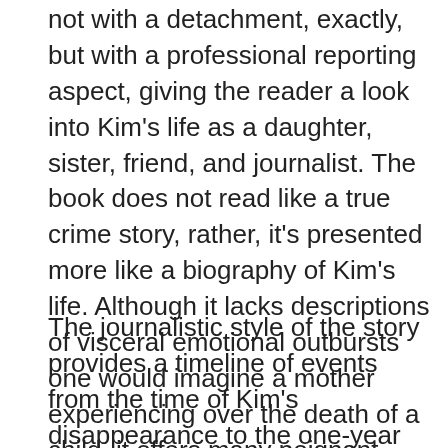not with a detachment, exactly, but with a professional reporting aspect, giving the reader a look into Kim's life as a daughter, sister, friend, and journalist. The book does not read like a true crime story, rather, it's presented more like a biography of Kim's life. Although it lacks descriptions of visceral emotional outbursts one would imagine a mother experiencing over the death of a child, it offers many poignant moments Ingrid exquisitely recalls about Kim which ultimately capture the grief she and her family faced.
The journalistic style of the story provides a timeline of events from the time of Kim's disappearance to the one-year anniversary of her death and the sentencing of her killer. Readers are given an account of a young woman growing up to earn two master's degrees and